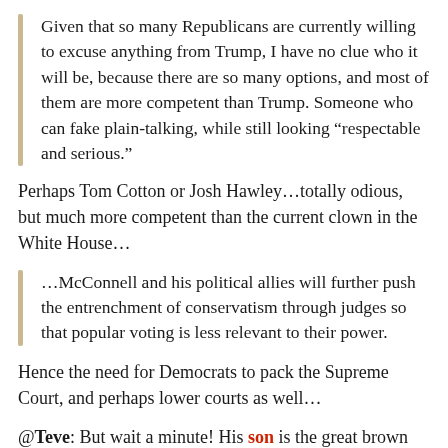Given that so many Republicans are currently willing to excuse anything from Trump, I have no clue who it will be, because there are so many options, and most of them are more competent than Trump. Someone who can fake plain-talking, while still looking “respectable and serious.”
Perhaps Tom Cotton or Josh Hawley…totally odious, but much more competent than the current clown in the White House…
…McConnell and his political allies will further push the entrenchment of conservatism through judges so that popular voting is less relevant to their power.
Hence the need for Democrats to pack the Supreme Court, and perhaps lower courts as well…
@Teve: But wait a minute! His son is the great brown hope for the GOP…